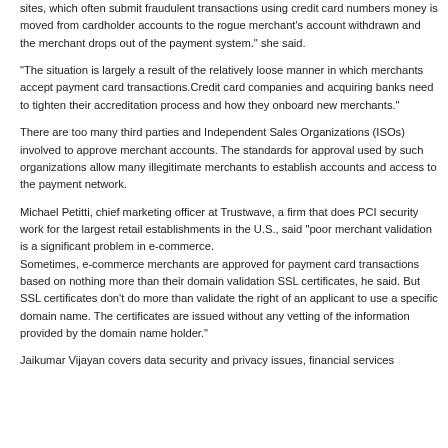sites, which often submit fraudulent transactions using credit card numbers money is moved from cardholder accounts to the rogue merchant's account withdrawn and the merchant drops out of the payment system." she said.
"The situation is largely a result of the relatively loose manner in which merchants accept payment card transactions. Credit card companies and acquiring banks need to tighten their accreditation process and how they onboard new merchants."
There are too many third parties and Independent Sales Organizations (ISOs) involved to approve merchant accounts. The standards for approval used by such organizations allow many illegitimate merchants to establish accounts and access to the payment network.
Michael Petitti, chief marketing officer at Trustwave, a firm that does PCI security work for the largest retail establishments in the U.S., said "poor merchant validation is a significant problem in e-commerce.
Sometimes, e-commerce merchants are approved for payment card transactions based on nothing more than their domain validation SSL certificates, he said. But SSL certificates don't validate more than the right of an applicant to use a specific domain name. The certificates are issued without any vetting of the information provided by the domain name holder."
Jaikumar Vijayan covers data security and privacy issues, financial services